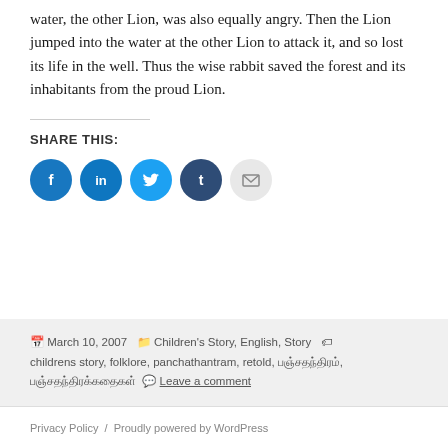water, the other Lion, was also equally angry. Then the Lion jumped into the water at the other Lion to attack it, and so lost its life in the well. Thus the wise rabbit saved the forest and its inhabitants from the proud Lion.
SHARE THIS:
[Figure (infographic): Row of five social share icons: Facebook (blue), LinkedIn (blue), Twitter (cyan), Tumblr (dark blue), Email (light gray)]
March 10, 2007  Categories: Children's Story, English, Story  Tags: childrens story, folklore, panchathantram, retold, பஞ்சதந்திரம், பஞ்சதந்திரக்கதைகள்  Leave a comment
Privacy Policy / Proudly powered by WordPress